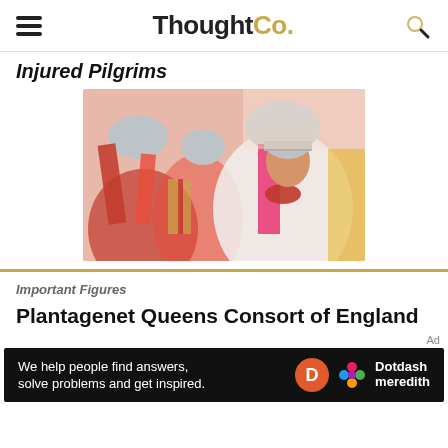ThoughtCo.
Injured Pilgrims
[Figure (photo): Men dressed in medieval knight costumes with silver helmets, pink and red sashes and fabric, marching in a procession or reenactment.]
Important Figures
Plantagenet Queens Consort of England
Ad
[Figure (other): Dotdash Meredith advertisement banner: 'We help people find answers, solve problems and get inspired.' with Dotdash Meredith logo.]